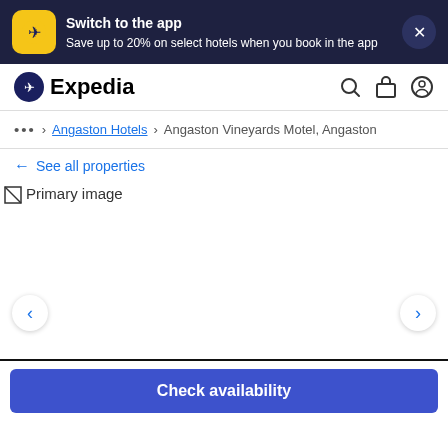[Figure (screenshot): App promotion banner with Expedia airplane logo icon, text 'Switch to the app / Save up to 20% on select hotels when you book in the app', and a close X button on dark navy background]
[Figure (logo): Expedia logo with circular dark icon and 'Expedia' text, with search, briefcase, and user account icons on right]
... > Angaston Hotels > Angaston Vineyards Motel, Angaston
← See all properties
[Figure (photo): Primary image placeholder for Angaston Vineyards Motel with left and right navigation arrows]
Check availability